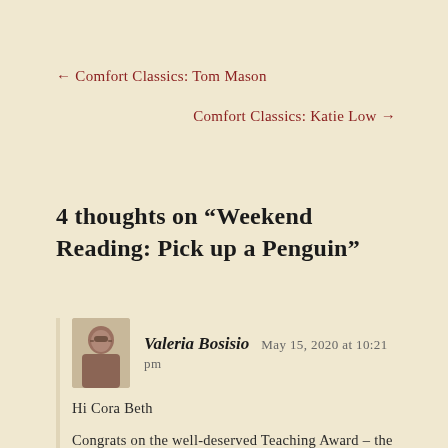← Comfort Classics: Tom Mason
Comfort Classics: Katie Low →
4 thoughts on “Weekend Reading: Pick up a Penguin”
Valeria Bosisio   May 15, 2020 at 10:21 pm
Hi Cora Beth
Congrats on the well-deserved Teaching Award – the